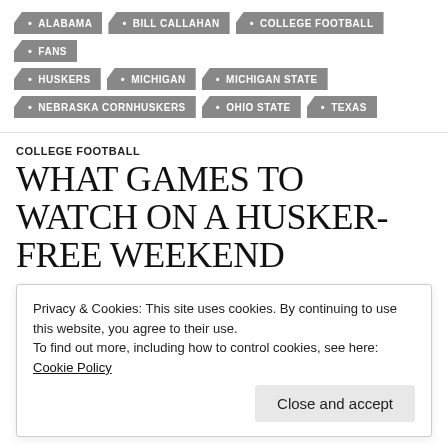ALABAMA
BILL CALLAHAN
COLLEGE FOOTBALL
FANS
HUSKERS
MICHIGAN
MICHIGAN STATE
NEBRASKA CORNHUSKERS
OHIO STATE
TEXAS
COLLEGE FOOTBALL
WHAT GAMES TO WATCH ON A HUSKER-FREE WEEKEND
Privacy & Cookies: This site uses cookies. By continuing to use this website, you agree to their use.
To find out more, including how to control cookies, see here: Cookie Policy
Close and accept
having to join all the other losers in to the cesspool of defeat